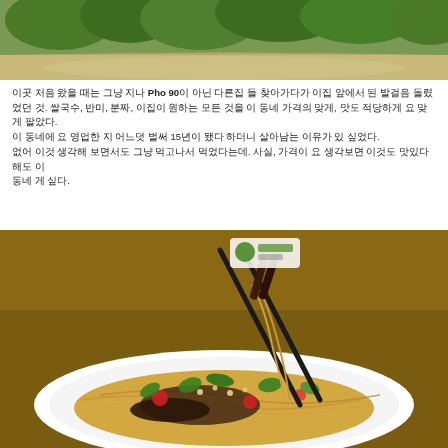[Figure (photo): Outdoor scene with green trees and a sandy/dirt road, partial photo cropped at top of page]
이곳 처음 왔을 때는 그냥 지나 Pho 90이 아닌 다른집 들 찾아가다가 이집 앞에서 된 발걸음 돌렸었던 것. 쌀국수, 반미, 분짜, 이집이 원하는 모든 것을 이 동네 가격의 맞게, 맛도 적당하게 요 맞게 팔았다. 이 동네에 요 영업한 지 어느덧 벌써 15년이 됐다 하더니 살아남는 이유가 있 싶었다. 없어 이것 생각해 보면서도 그냥 먹고나서 먹었다는데. 사실, 가격이 요 생각보면 이것도 맛있다 해도 이 동네 게 싶다.
[Figure (photo): Close-up photo of a Vietnamese noodle dish (bun bo/noodles) with fresh herbs, tomatoes, ground peanuts, and meat being lifted with black chopsticks over a white plate, with a restaurant sign visible in the background]